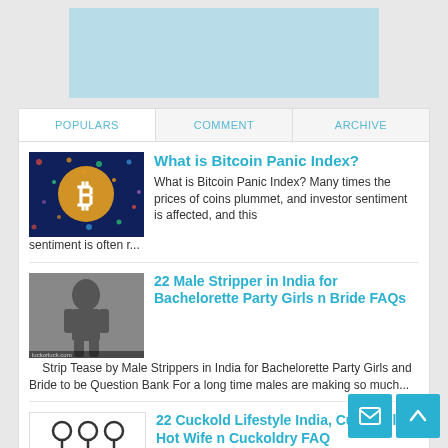[Figure (other): Light blue advertisement banner placeholder block]
POPULARS | COMMENT | ARCHIVE tab navigation
[Figure (photo): Bitcoin logo on dark blue digital background thumbnail]
What is Bitcoin Panic Index?
What is Bitcoin Panic Index? Many times the prices of coins plummet, and investor sentiment is affected, and this sentiment is often r...
[Figure (photo): Male stripper grayscale photo thumbnail with luckorluck.com watermark]
22 Male Stripper in India for Bachelorette Party Girls n Bride FAQs
Strip Tease by Male Strippers in India for Bachelorette Party Girls and Bride to be Question Bank For a long time males are making so much...
[Figure (illustration): Stick figure icons of people (cuckold lifestyle illustration) with luckorluck.com watermark]
22 Cuckold Lifestyle India, Cuck Bull Hot Wife n Cuckoldry FAQ
Cuckold Lifestyle in India, Cucks, Bulls and Hotwife in Cuckoldry Encyclopedia Cuckoldry is a lifestyle between co...ho mostly wife...